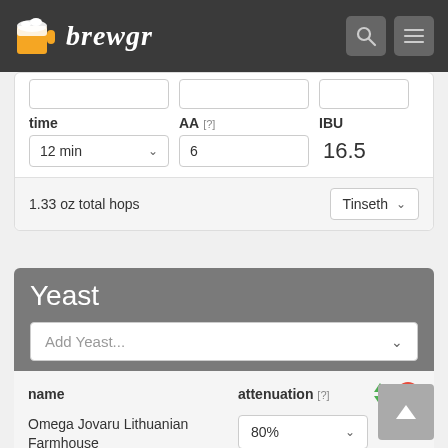brewgr
time
AA [?]
IBU
12 min
6
16.5
1.33 oz total hops
Tinseth
Yeast
Add Yeast...
name
attenuation [?]
Omega Jovaru Lithuanian Farmhouse
80%